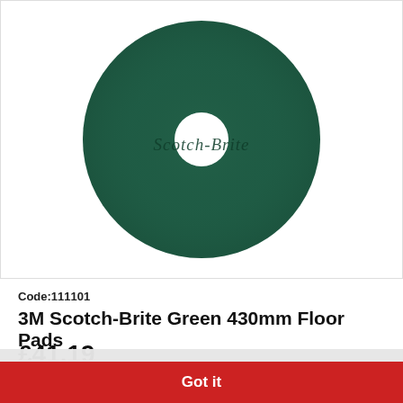[Figure (photo): A dark green circular Scotch-Brite floor scrubbing pad with a white circular hole in the center and 'Scotch-Brite' text embossed on the surface.]
Code:111101
3M Scotch-Brite Green 430mm Floor Pads
£41.19
This website uses cookies to ensure you get the best experience on our website. Learn more
Got it